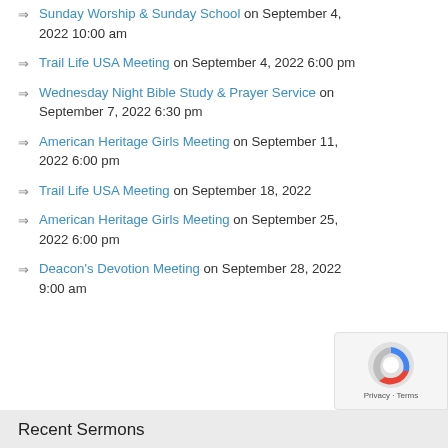Sunday Worship & Sunday School on September 4, 2022 10:00 am
Trail Life USA Meeting on September 4, 2022 6:00 pm
Wednesday Night Bible Study & Prayer Service on September 7, 2022 6:30 pm
American Heritage Girls Meeting on September 11, 2022 6:00 pm
Trail Life USA Meeting on September 18, 2022
American Heritage Girls Meeting on September 25, 2022 6:00 pm
Deacon's Devotion Meeting on September 28, 2022 9:00 am
Recent Sermons